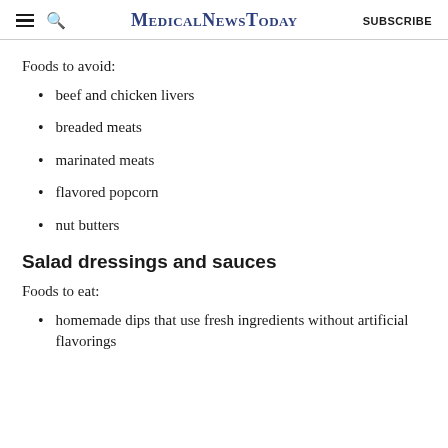MedicalNewsToday | SUBSCRIBE
Foods to avoid:
beef and chicken livers
breaded meats
marinated meats
flavored popcorn
nut butters
Salad dressings and sauces
Foods to eat:
homemade dips that use fresh ingredients without artificial flavorings